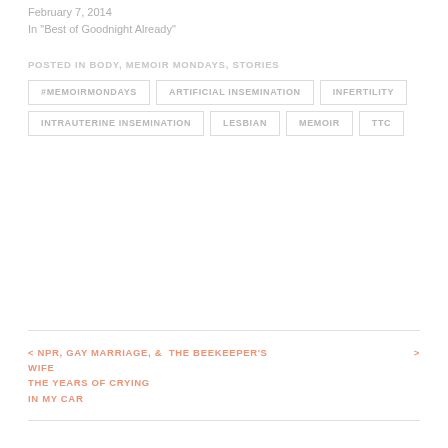February 7, 2014
In "Best of Goodnight Already"
POSTED IN BODY, MEMOIR MONDAYS, STORIES
#MEMOIRMONDAYS
ARTIFICIAL INSEMINATION
INFERTILITY
INTRAUTERINE INSEMINATION
LESBIAN
MEMOIR
TTC
< NPR, GAY MARRIAGE, & THE YEARS OF CRYING IN MY CAR
THE BEEKEEPER'S WIFE >